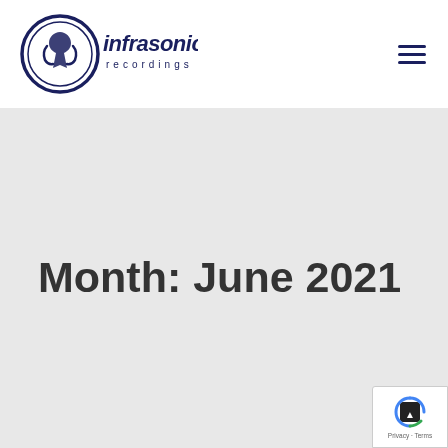[Figure (logo): Infrasonic Recordings logo — circular badge with stylized figure and text 'infrasonic recordings' in dark navy blue]
Month: June 2021